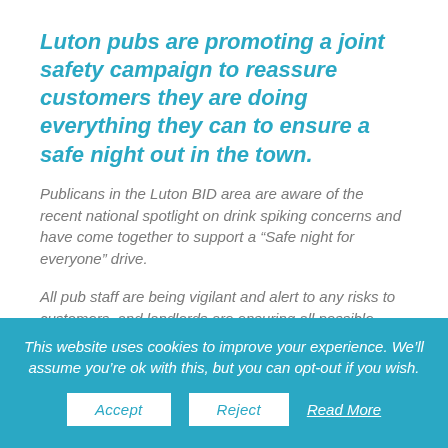Luton pubs are promoting a joint safety campaign to reassure customers they are doing everything they can to ensure a safe night out in the town.
Publicans in the Luton BID area are aware of the recent national spotlight on drink spiking concerns and have come together to support a “Safe night for everyone” drive.
All pub staff are being vigilant and alert to any risks to customers, and landlords are ensuring all possible safety methods are in
This website uses cookies to improve your experience. We’ll assume you’re ok with this, but you can opt-out if you wish.